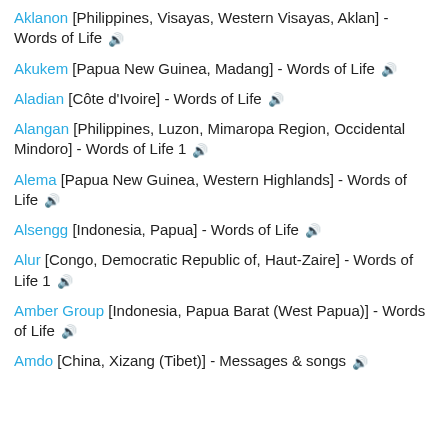Aklanon [Philippines, Visayas, Western Visayas, Aklan] - Words of Life 🔊
Akukem [Papua New Guinea, Madang] - Words of Life 🔊
Aladian [Côte d'Ivoire] - Words of Life 🔊
Alangan [Philippines, Luzon, Mimaropa Region, Occidental Mindoro] - Words of Life 1 🔊
Alema [Papua New Guinea, Western Highlands] - Words of Life 🔊
Alsengg [Indonesia, Papua] - Words of Life 🔊
Alur [Congo, Democratic Republic of, Haut-Zaire] - Words of Life 1 🔊
Amber Group [Indonesia, Papua Barat (West Papua)] - Words of Life 🔊
Amdo [China, Xizang (Tibet)] - Messages & songs 🔊